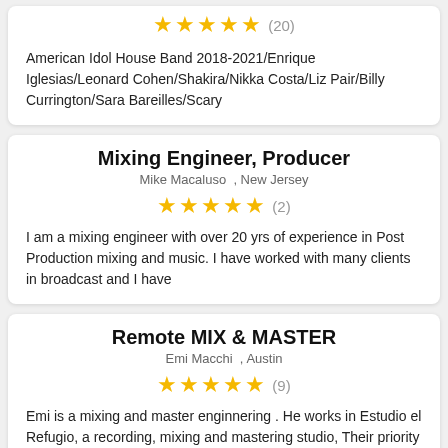[Figure (other): 5 gold stars rating with (20) review count]
American Idol House Band 2018-2021/Enrique Iglesias/Leonard Cohen/Shakira/Nikka Costa/Liz Pair/Billy Currington/Sara Bareilles/Scary
Mixing Engineer, Producer
Mike Macaluso , New Jersey
[Figure (other): 5 gold stars rating with (2) review count]
I am a mixing engineer with over 20 yrs of experience in Post Production mixing and music. I have worked with many clients in broadcast and I have
Remote MIX & MASTER
Emi Macchi , Austin
[Figure (other): 5 gold stars rating with (9) review count]
Emi is a mixing and master enginnering . He works in Estudio el Refugio, a recording, mixing and mastering studio, Their priority is to make the song